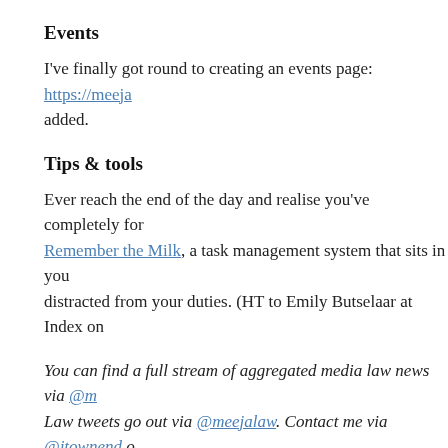Events
I've finally got round to creating an events page: https://meejala... added.
Tips & tools
Ever reach the end of the day and realise you've completely for... Remember the Milk, a task management system that sits in your... distracted from your duties. (HT to Emily Butselaar at Index on...
You can find a full stream of aggregated media law news via @m... Law tweets go out via @meejalaw. Contact me via @jtownend o...
About these ads
Share this:
Facebook
Twitter